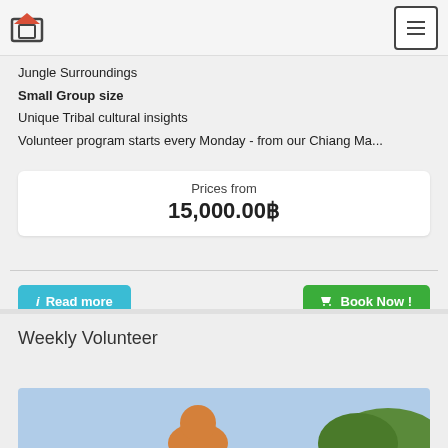Jungle Surroundings
Small Group size
Unique Tribal cultural insights
Volunteer program starts every Monday - from our Chiang Ma...
Prices from
15,000.00฿
Read more
Book Now !
Weekly Volunteer
[Figure (photo): Photo of a volunteer scene, partially visible at bottom of page]